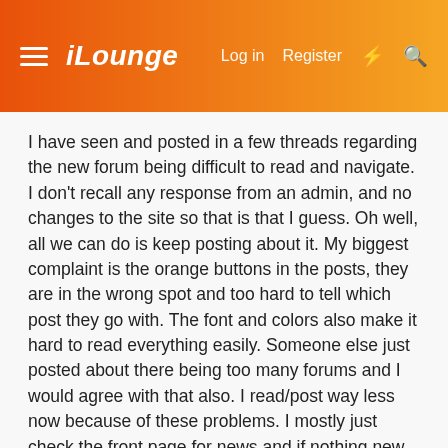iLounge  Log in  Register
I have seen and posted in a few threads regarding the new forum being difficult to read and navigate. I don't recall any response from an admin, and no changes to the site so that is that I guess. Oh well, all we can do is keep posting about it. My biggest complaint is the orange buttons in the posts, they are in the wrong spot and too hard to tell which post they go with. The font and colors also make it hard to read everything easily. Someone else just posted about there being too many forums and I would agree with that also. I read/post way less now because of these problems. I mostly just check the front page for news and if nothing new or interesting then I don't participate anymore because it just isn't enjoyable with the layout.
In case an Admin wants specifics about the orange buttons the problem for starters is that they are at the bottom of a post, which in almost all other forums on the net they are above the post and secondly they are seperated at the